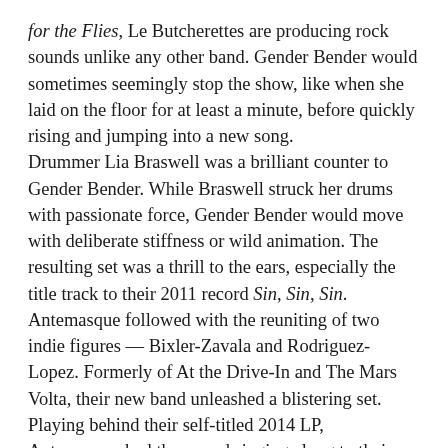for the Flies, Le Butcherettes are producing rock sounds unlike any other band. Gender Bender would sometimes seemingly stop the show, like when she laid on the floor for at least a minute, before quickly rising and jumping into a new song. Drummer Lia Braswell was a brilliant counter to Gender Bender. While Braswell struck her drums with passionate force, Gender Bender would move with deliberate stiffness or wild animation. The resulting set was a thrill to the ears, especially the title track to their 2011 record Sin, Sin, Sin. Antemasque followed with the reuniting of two indie figures — Bixler-Zavala and Rodriguez-Lopez. Formerly of At the Drive-In and The Mars Volta, their new band unleashed a blistering set. Playing behind their self-titled 2014 LP, Antemasque had the crowd singing along to their new works. Bixler-Zavala, big hair and all, twirled his mic and mic stand while uttering the vocals. Rodriguez-Lopez was rarely in the same place, as he